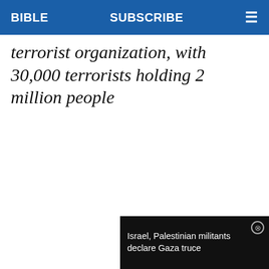BIBLE   SUBSCRIBE   ≡
terrorist organization, with 30,000 terrorists holding 2 million people
[Figure (illustration): Advertisement banner for Hebrew (Jewish) Birthday Calculator with purple background and colorful stars]
[Figure (photo): Video thumbnail showing rubble and a person standing among destroyed buildings, with caption: Israel, Palestinian militants declare Gaza truce]